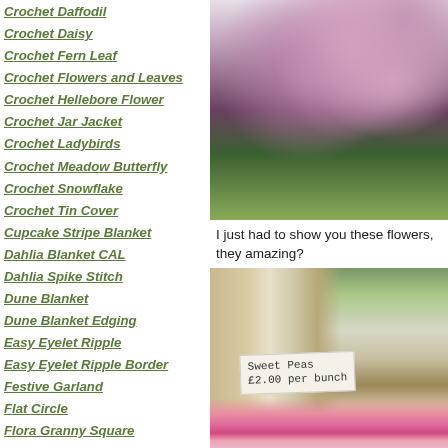Crochet Daffodil
Crochet Daisy
Crochet Fern Leaf
Crochet Flowers and Leaves
Crochet Hellebore Flower
Crochet Jar Jacket
Crochet Ladybirds
Crochet Meadow Butterfly
Crochet Snowflake
Crochet Tin Cover
Cupcake Stripe Blanket
Dahlia Blanket CAL
Dahlia Spike Stitch
Dune Blanket
Dune Blanket Edging
Easy Eyelet Ripple
Easy Eyelet Ripple Border
Festive Garland
Flat Circle
Flora Granny Square
Flora's Flowers
Granny Blanket Edging
Granny Bunting Triangles
Granny Stripe
Granny Stripe Blanket
Happy Flower Decoration
Harbour Blanket CAL
[Figure (photo): Close-up photo of purple/mauve hellebore flowers with dark veining in a green vase]
I just had to show you these flowers, they amazing?
[Figure (photo): Photo of a market stall or garden shop window with a handwritten sign reading 'Sweet Peas £2.00 per bunch' and colourful sweet pea flowers]